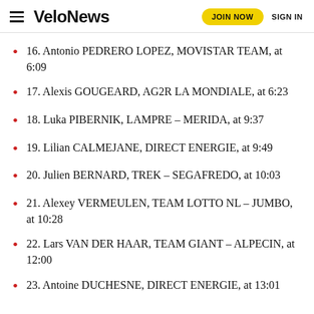VeloNews  JOIN NOW  SIGN IN
16. Antonio PEDRERO LOPEZ, MOVISTAR TEAM, at 6:09
17. Alexis GOUGEARD, AG2R LA MONDIALE, at 6:23
18. Luka PIBERNIK, LAMPRE – MERIDA, at 9:37
19. Lilian CALMEJANE, DIRECT ENERGIE, at 9:49
20. Julien BERNARD, TREK – SEGAFREDO, at 10:03
21. Alexey VERMEULEN, TEAM LOTTO NL – JUMBO, at 10:28
22. Lars VAN DER HAAR, TEAM GIANT – ALPECIN, at 12:00
23. Antoine DUCHESNE, DIRECT ENERGIE, at 13:01